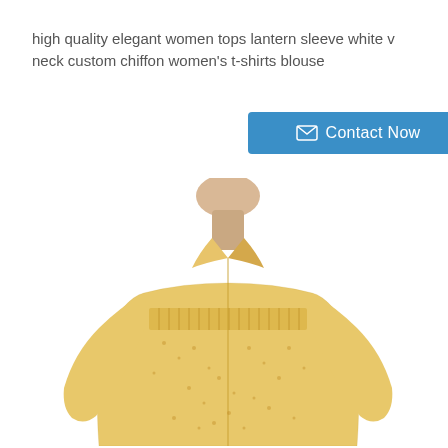high quality elegant women tops lantern sleeve white v neck custom chiffon women's t-shirts blouse
Contact Now
[Figure (photo): A yellow/mustard patterned chiffon women's blouse with long lantern sleeves and a collar, displayed on a mannequin against a white background.]